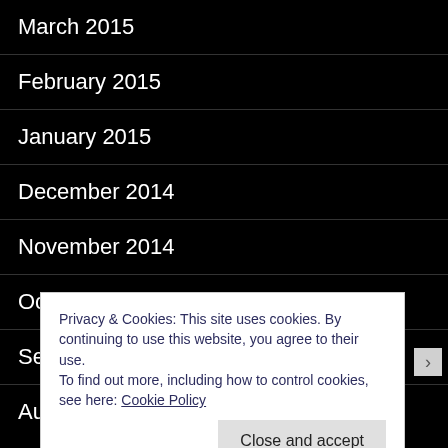March 2015
February 2015
January 2015
December 2014
November 2014
October 2014
September 2014
August 2014
Privacy & Cookies: This site uses cookies. By continuing to use this website, you agree to their use.
To find out more, including how to control cookies, see here: Cookie Policy
Close and accept